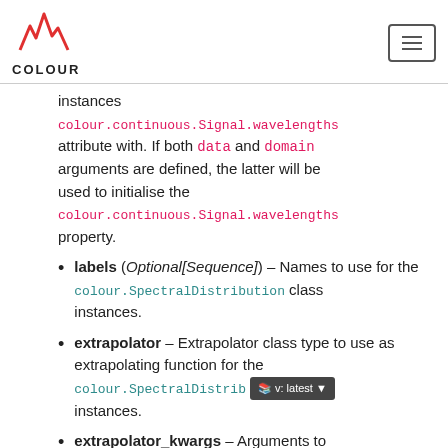COLOUR
instances colour.continuous.Signal.wavelengths attribute with. If both data and domain arguments are defined, the latter will be used to initialise the colour.continuous.Signal.wavelengths property.
labels (Optional[Sequence]) – Names to use for the colour.SpectralDistribution class instances.
extrapolator – Extrapolator class type to use as extrapolating function for the colour.SpectralDistrib... instances.
extrapolator_kwargs – Arguments to